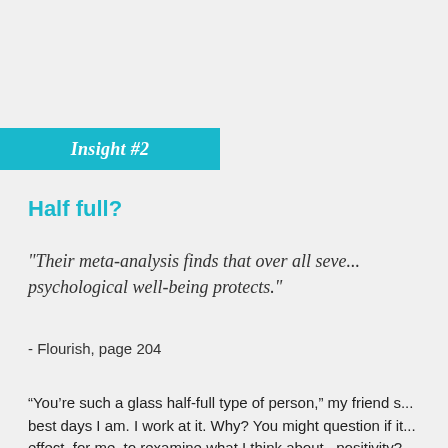Insight #2
Half full?
"Their meta-analysis finds that over all seve... psychological well-being protects."
- Flourish, page 204
“You’re such a glass half-full type of person,” my friend s... best days I am. I work at it. Why? You might question if it... effect, for me, to rexamine what I think about...positivity?...